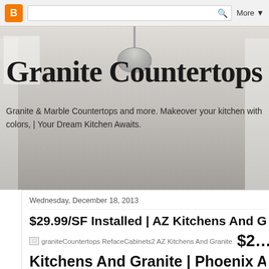[Figure (screenshot): Browser toolbar with Blogger orange icon, search bar with magnifying glass icon, and 'More ▼' dropdown button]
[Figure (photo): Kitchen interior background image showing white cabinets, hanging pendant light fixture, marble countertops and bright recessed lighting]
Granite Countertops
Granite & Marble Countertops and more. Makeover your kitchen with colors, | Your Dream Kitchen Awaits.
Wednesday, December 18, 2013
$29.99/SF Installed | AZ Kitchens And G…
[Figure (screenshot): Broken image placeholder labeled 'graniteCountertops RefaceCabinets2 AZ Kitchens And Granite' followed by partial price '$2…']
Kitchens And Granite | Phoenix A…
AZ Kitchen Refacing has been providing the Phoenix area with superior for more than 35 years. Our Amish Mennonite heritage means that wood…
http://phoenixaz.granite-countertops.us…